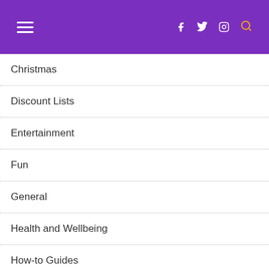Navigation menu with hamburger icon, Facebook, Twitter, Instagram, and search icons
Christmas
Discount Lists
Entertainment
Fun
General
Health and Wellbeing
How-to Guides
Lessons
Lifestyle
Local Discounts
Money-Saving tips